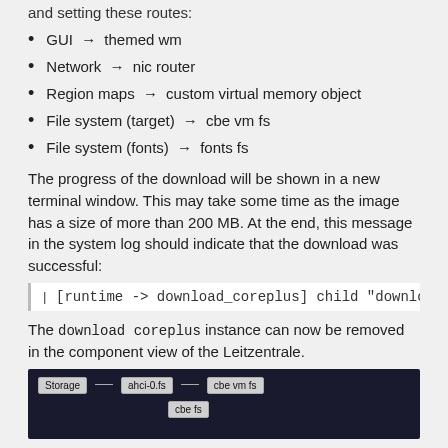and setting these routes:
GUI → themed wm
Network → nic router
Region maps → custom virtual memory object
File system (target) → cbe vm fs
File system (fonts) → fonts fs
The progress of the download will be shown in a new terminal window. This may take some time as the image has a size of more than 200 MB. At the end, this message in the system log should indicate that the download was successful:
[runtime -> download_coreplus] child "download" exited w
The download coreplus instance can now be removed in the component view of the Leitzentrale.
[Figure (screenshot): Screenshot of a component view showing Storage connected to ahci-0.fs and cbe vm fs, with cbe fs below]